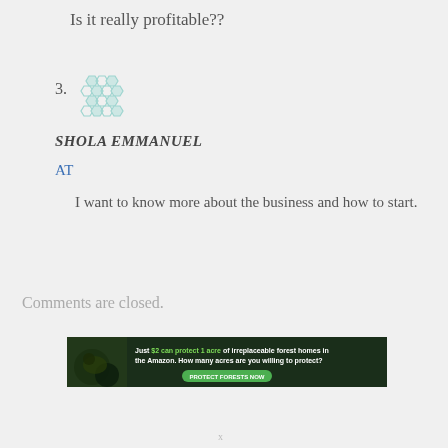Is it really profitable??
3.
[Figure (illustration): Green hexagonal pattern avatar placeholder icon]
SHOLA EMMANUEL
AT
I want to know more about the business and how to start.
Comments are closed.
[Figure (infographic): Advertisement banner: Just $2 can protect 1 acre of irreplaceable forest homes in the Amazon. How many acres are you willing to protect? PROTECT FORESTS NOW]
x